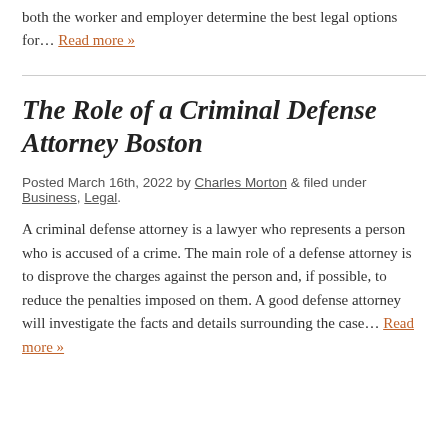both the worker and employer determine the best legal options for… Read more »
The Role of a Criminal Defense Attorney Boston
Posted March 16th, 2022 by Charles Morton & filed under Business, Legal.
A criminal defense attorney is a lawyer who represents a person who is accused of a crime. The main role of a defense attorney is to disprove the charges against the person and, if possible, to reduce the penalties imposed on them. A good defense attorney will investigate the facts and details surrounding the case… Read more »